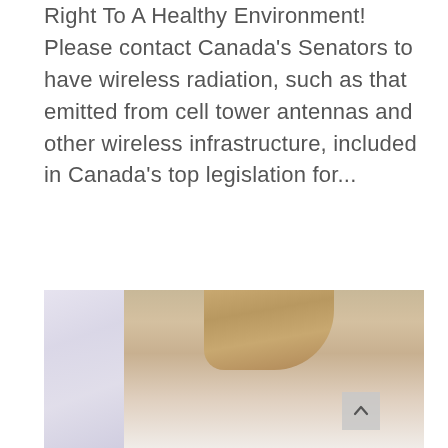Right To A Healthy Environment!  Please contact Canada's Senators to have wireless radiation, such as that emitted from cell tower antennas and other wireless infrastructure, included in Canada's top legislation for...
read more
[Figure (photo): A young woman with long blonde hair looking down at a smartphone, seated indoors near a window with white curtains and a light brick wall in the background.]